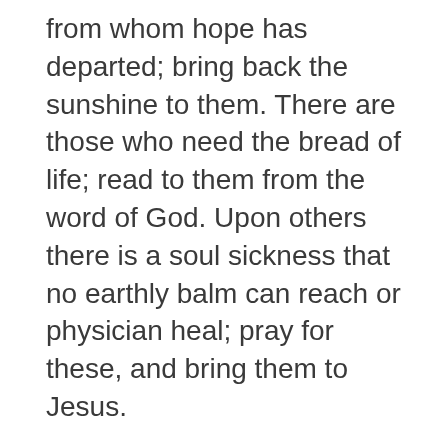from whom hope has departed; bring back the sunshine to them. There are those who need the bread of life; read to them from the word of God. Upon others there is a soul sickness that no earthly balm can reach or physician heal; pray for these, and bring them to Jesus.
On special occasions some indulge in sentimental feelings which lead to impulsive movements. They may think that in this way they are doing great service for Christ, but they are not. Their zeal soon dies, and then Christ's service is neglected. It is not fitful service that God accepts; it is not by emotional spasms of activity that we can do